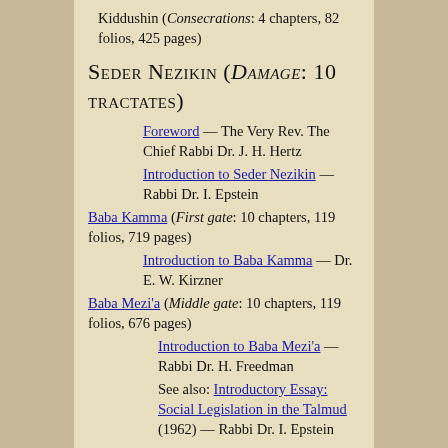Kiddushin (Consecrations: 4 chapters, 82 folios, 425 pages)
Seder Nezikin (Damage: 10 tractates)
Foreword — The Very Rev. The Chief Rabbi Dr. J. H. Hertz
Introduction to Seder Nezikin — Rabbi Dr. I. Epstein
Baba Kamma (First gate: 10 chapters, 119 folios, 719 pages)
Introduction to Baba Kamma — Dr. E. W. Kirzner
Baba Mezi'a (Middle gate: 10 chapters, 119 folios, 676 pages)
Introduction to Baba Mezi'a — Rabbi Dr. H. Freedman
See also: Introductory Essay: Social Legislation in the Talmud (1962) — Rabbi Dr. I. Epstein